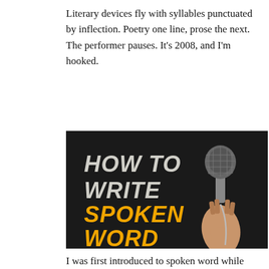Literary devices fly with syllables punctuated by inflection. Poetry one line, prose the next. The performer pauses. It's 2008, and I'm hooked.
[Figure (photo): Dark background image with text 'HOW TO WRITE SPOKEN WORD' on the left side — 'HOW TO WRITE' in bold white/light italic, 'SPOKEN WORD' in bold orange italic — and a hand holding a microphone up on the right side.]
I was first introduced to spoken word while taking a creative writing class in college. I th...